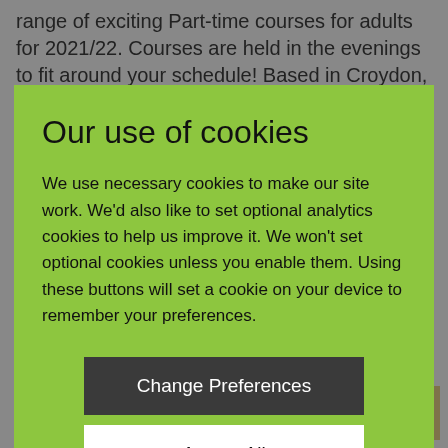range of exciting Part-time courses for adults for 2021/22. Courses are held in the evenings to fit around your schedule! Based in Croydon, we are
Our use of cookies
We use necessary cookies to make our site work. We'd also like to set optional analytics cookies to help us improve it. We won't set optional cookies unless you enable them. Using these buttons will set a cookie on your device to remember your preferences.
Change Preferences
Accept All
workshops.